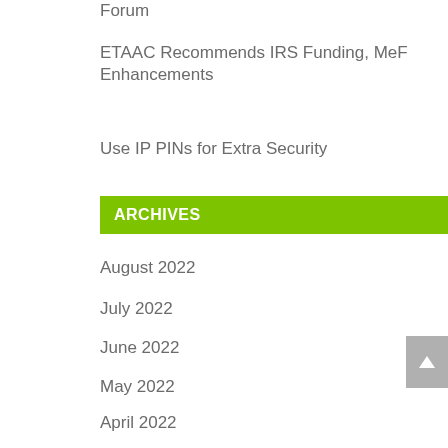Forum
ETAAC Recommends IRS Funding, MeF Enhancements
Use IP PINs for Extra Security
ARCHIVES
August 2022
July 2022
June 2022
May 2022
April 2022
March 2022
February 2022